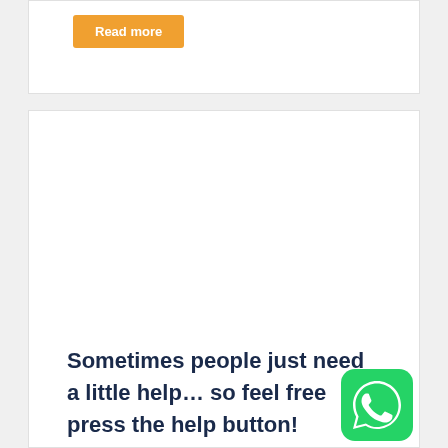Read more
Sometimes people just need a little help… so feel free press the help button!